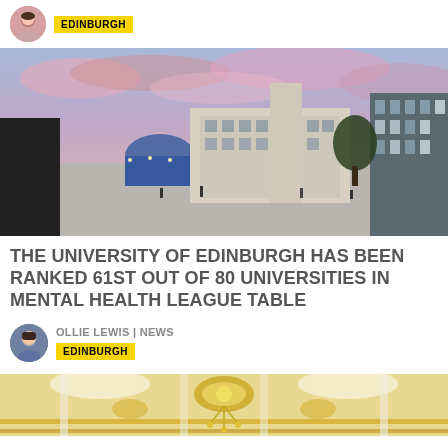[Figure (photo): Small circular avatar of a person, female, partially visible at top of page]
EDINBURGH
[Figure (photo): University of Edinburgh campus square at dusk with pink clouds, buildings and people walking]
THE UNIVERSITY OF EDINBURGH HAS BEEN RANKED 61ST OUT OF 80 UNIVERSITIES IN MENTAL HEALTH LEAGUE TABLE
OLLIE LEWIS | NEWS
EDINBURGH
[Figure (photo): Interior architectural photo showing ornate ceiling with yellow and white decorative elements and a chandelier, partially visible at bottom of page]